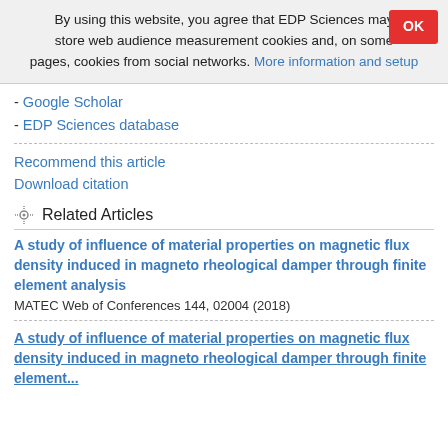By using this website, you agree that EDP Sciences may store web audience measurement cookies and, on some pages, cookies from social networks. More information and setup
- Google Scholar
- EDP Sciences database
Recommend this article
Download citation
Related Articles
A study of influence of material properties on magnetic flux density induced in magneto rheological damper through finite element analysis
MATEC Web of Conferences 144, 02004 (2018)
A study of influence of material properties on magnetic flux density induced in magneto rheological damper through finite element...